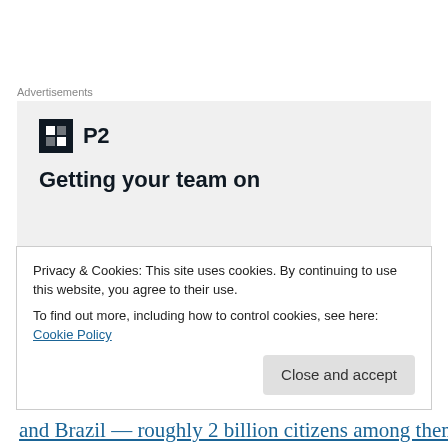Advertisements
[Figure (other): Advertisement box with P2 logo and headline 'Getting your team on']
Even bearing those facts and Milan's tables in mind, I think it's fair to say that Indonesia now qualifies as a consolidated democracy, in the specific sense that the risk
Privacy & Cookies: This site uses cookies. By continuing to use this website, you agree to their use.
To find out more, including how to control cookies, see here: Cookie Policy
and Brazil — roughly 2 billion citizens among them — all